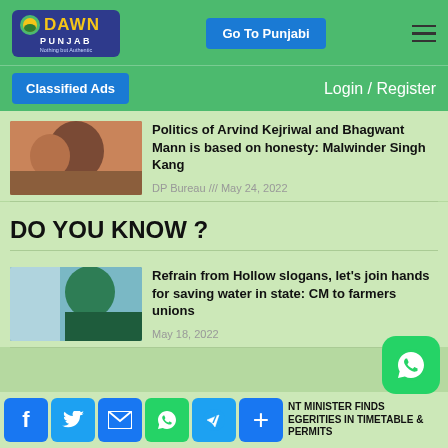[Figure (logo): Dawn Punjab logo - blue rounded rectangle with sun icon, yellow DAWN text, white PUNJAB text, tagline 'Nothing but Authentic']
Go To Punjabi
Classified Ads
Login / Register
[Figure (photo): Thumbnail photo of faces - article about Arvind Kejriwal and Bhagwant Mann]
Politics of Arvind Kejriwal and Bhagwant Mann is based on honesty: Malwinder Singh Kang
DP Bureau /// May 24, 2022
DO YOU KNOW ?
[Figure (photo): Thumbnail photo - article about water saving, CM to farmers unions]
Refrain from Hollow slogans, let's join hands for saving water in state: CM to farmers unions
May 18, 2022
NT MINISTER FINDS EGERITIES IN TIMETABLE & PERMITS
[Figure (screenshot): Social media share bar with Facebook, Twitter, Email, WhatsApp, Telegram, and Plus icons at bottom]